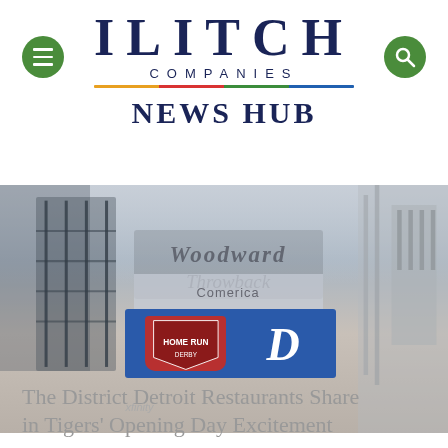ILITCH COMPANIES NEWS HUB
[Figure (photo): Aerial view of Comerica Park stadium with scoreboard showing Detroit Tigers logo, city skyline in background, hazy overcast sky]
The District Detroit Restaurants Share in Tigers' Opening Day Excitement